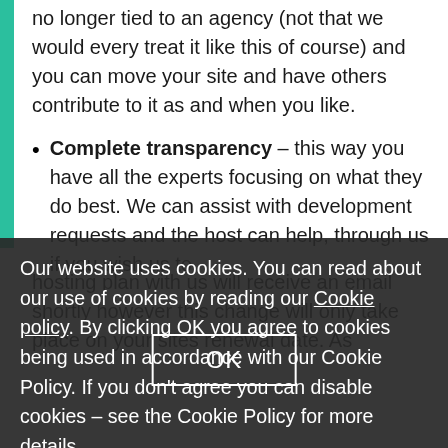no longer tied to an agency (not that we would every treat it like this of course) and you can move your site and have others contribute to it as and when you like.
Complete transparency – this way you have all the experts focusing on what they do best. We can assist with development requests and the host can help, through us if you wish us to
Our website uses cookies. You can read about our use of cookies by reading our Cookie policy. By clicking OK you agree to cookies being used in accordance with our Cookie Policy. If you don't agree you can disable cookies – see the Cookie Policy for more details.
hosting plan with us will receive an email shortly however this change will only take place on your sites renewal date. As